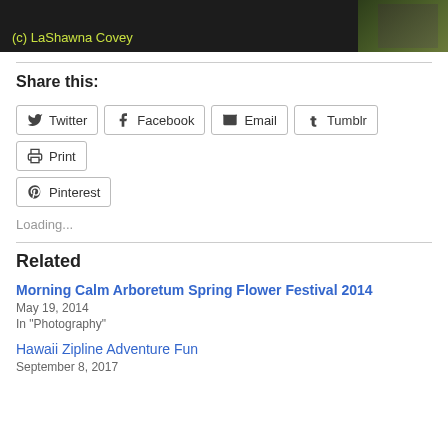[Figure (photo): Dark photo strip with '(c) LaShawna Covey' text overlay in yellow-green, with trees/foliage visible on the right side]
Share this:
Twitter  Facebook  Email  Tumblr  Print  Pinterest
Loading...
Related
Morning Calm Arboretum Spring Flower Festival 2014
May 19, 2014
In "Photography"
Hawaii Zipline Adventure Fun
September 8, 2017